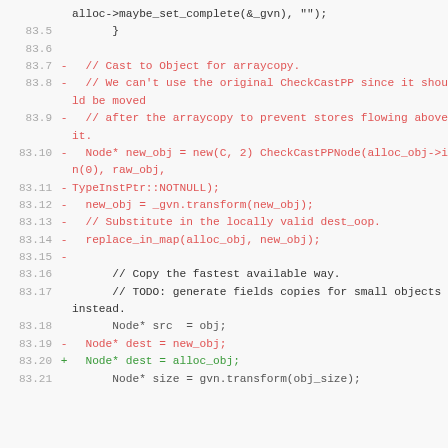Code diff snippet showing changes to arraycopy-related logic in a Java JIT compiler source file. Lines 83.5 through 83.21 shown, with red deleted lines and green added lines.